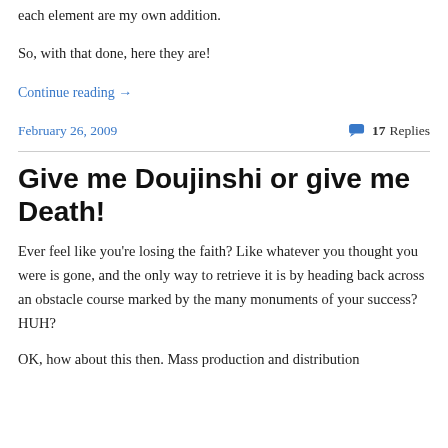each element are my own addition.
So, with that done, here they are!
Continue reading →
February 26, 2009
17 Replies
Give me Doujinshi or give me Death!
Ever feel like you're losing the faith?  Like whatever you thought you were is gone, and the only way to retrieve it is by heading back across an obstacle course marked by the many monuments of your success?  HUH?
OK, how about this then.  Mass production and distribution